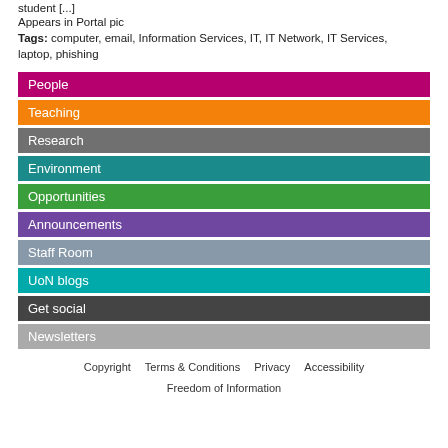student [...]
Appears in Portal pic
Tags: computer, email, Information Services, IT, IT Network, IT Services, laptop, phishing
People
Teaching
Research
Environment
Opportunities
Announcements
Staff Room
UoN blogs
Get social
Newsletters
Copyright   Terms & Conditions   Privacy   Accessibility   Freedom of Information